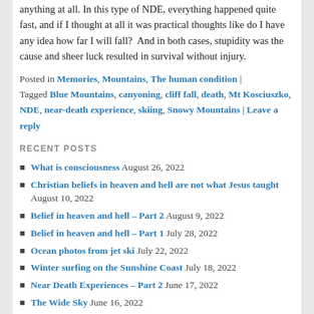anything at all. In this type of NDE, everything happened quite fast, and if I thought at all it was practical thoughts like do I have any idea how far I will fall?  And in both cases, stupidity was the cause and sheer luck resulted in survival without injury.
Posted in Memories, Mountains, The human condition | Tagged Blue Mountains, canyoning, cliff fall, death, Mt Kosciuszko, NDE, near-death experience, skiing, Snowy Mountains | Leave a reply
RECENT POSTS
What is consciousness August 26, 2022
Christian beliefs in heaven and hell are not what Jesus taught August 10, 2022
Belief in heaven and hell – Part 2 August 9, 2022
Belief in heaven and hell – Part 1 July 28, 2022
Ocean photos from jet ski July 22, 2022
Winter surfing on the Sunshine Coast July 18, 2022
Near Death Experiences – Part 2 June 17, 2022
The Wide Sky June 16, 2022